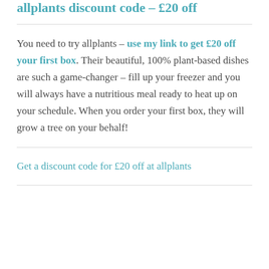allplants discount code – £20 off
You need to try allplants – use my link to get £20 off your first box. Their beautiful, 100% plant-based dishes are such a game-changer – fill up your freezer and you will always have a nutritious meal ready to heat up on your schedule. When you order your first box, they will grow a tree on your behalf!
Get a discount code for £20 off at allplants